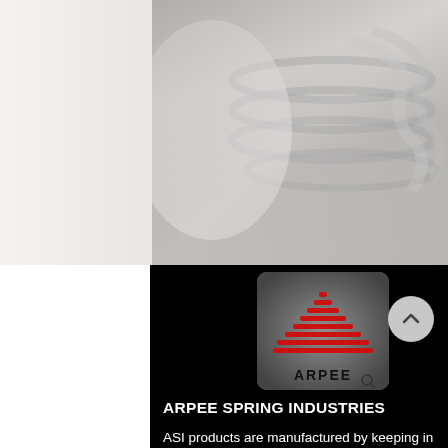[Figure (photo): Background photo of metal springs/coils in grayscale, with a white/light gray strip on the left side]
[Figure (logo): ARPEE Spring Industries logo: red pyramid/triangle shape made of horizontal lines with 'ARPEE' text below, on dark gradient background]
ARPEE SPRING INDUSTRIES
ASI products are manufactured by keeping in mind the market excellence standards using extraordinary raw material and advanced technology.